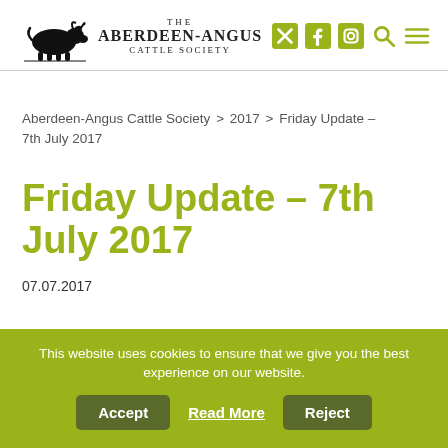[Figure (logo): Aberdeen-Angus Cattle Society logo with black bull silhouette and text]
Aberdeen-Angus Cattle Society > 2017 > Friday Update – 7th July 2017
Friday Update – 7th July 2017
07.07.2017
This website uses cookies to ensure that we give you the best experience on our website.